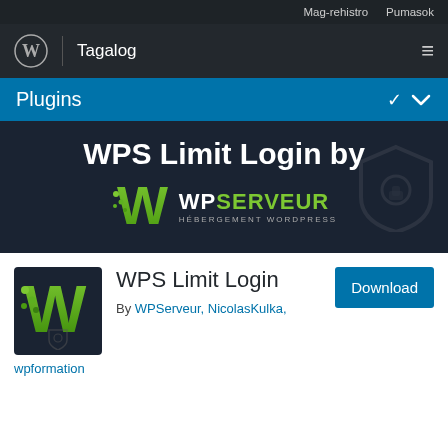Mag-rehistro   Pumasok
Tagalog
Plugins
[Figure (screenshot): WPS Limit Login by WPServeur hero banner with WPServeur logo and shield icon]
[Figure (logo): WPS Limit Login plugin icon - dark background with green W letter logo and shield]
WPS Limit Login
By WPServeur, NicolasKulka, wpformation